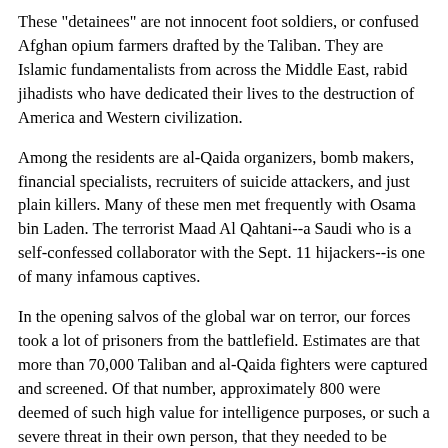These "detainees" are not innocent foot soldiers, or confused Afghan opium farmers drafted by the Taliban. They are Islamic fundamentalists from across the Middle East, rabid jihadists who have dedicated their lives to the destruction of America and Western civilization.
Among the residents are al-Qaida organizers, bomb makers, financial specialists, recruiters of suicide attackers, and just plain killers. Many of these men met frequently with Osama bin Laden. The terrorist Maad Al Qahtani--a Saudi who is a self-confessed collaborator with the Sept. 11 hijackers--is one of many infamous captives.
In the opening salvos of the global war on terror, our forces took a lot of prisoners from the battlefield. Estimates are that more than 70,000 Taliban and al-Qaida fighters were captured and screened. Of that number, approximately 800 were deemed of such high value for intelligence purposes, or such a severe threat in their own person, that they needed to be interrogated and confined in a secure locale from which they could not easily escape or be rescued.
Welcome to the new Gitmo.
I was able to observe conditions at the detention facility, firsthand, at the end of June, when I was invited to join a group of 10 former